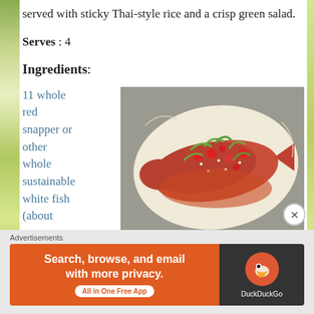served with sticky Thai-style rice and a crisp green salad.
Serves : 4
Ingredients:
11 whole red snapper or other whole sustainable white fish (about
[Figure (photo): A whole red snapper fish baked in parchment paper with tomatoes, green onions, herbs and chili peppers on a baking tray]
Advertisements
[Figure (infographic): DuckDuckGo advertisement banner: Search, browse, and email with more privacy. All in One Free App]